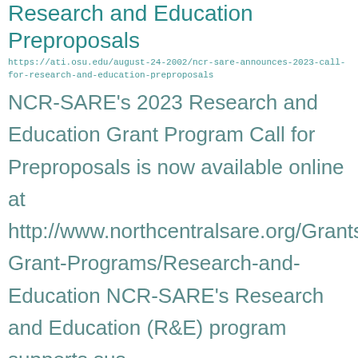Research and Education Preproposals
https://ati.osu.edu/august-24-2002/ncr-sare-announces-2023-call-for-research-and-education-preproposals
NCR-SARE's 2023 Research and Education Grant Program Call for Preproposals is now available online at http://www.northcentralsare.org/Grants/Our-Grant-Programs/Research-and-Education NCR-SARE's Research and Education (R&E) program supports sus ...
Adobe Creative Cloud for Students
https://ati.osu.edu/august-24-2002/adobe-creative-cloud-for-students